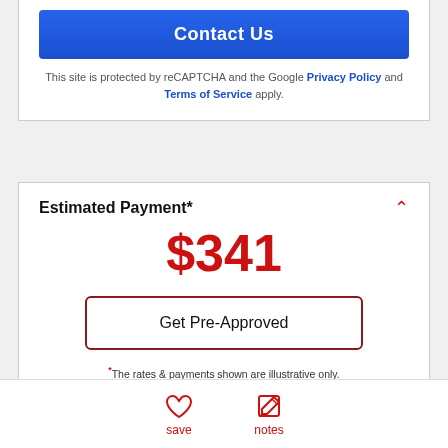Contact Us
This site is protected by reCAPTCHA and the Google Privacy Policy and Terms of Service apply.
Estimated Payment*
$341
Get Pre-Approved
*The rates & payments shown are illustrative only. Payment displayed does not include taxes and insurance. Contact a loan officer for actual rate/payment quotes.
| Term Years | Purchase Price $ | Loan Amount | *Interest Rate |
| --- | --- | --- | --- |
save    notes